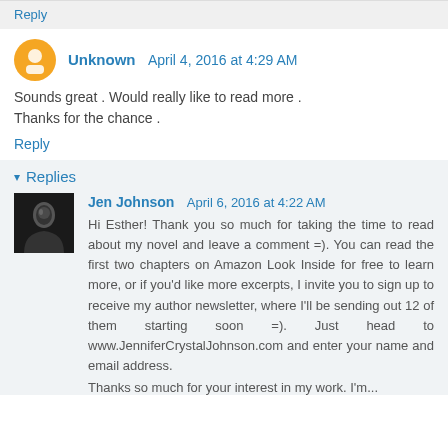Reply
Unknown  April 4, 2016 at 4:29 AM
Sounds great . Would really like to read more .
Thanks for the chance .
Reply
▾ Replies
Jen Johnson  April 6, 2016 at 4:22 AM
Hi Esther! Thank you so much for taking the time to read about my novel and leave a comment =). You can read the first two chapters on Amazon Look Inside for free to learn more, or if you'd like more excerpts, I invite you to sign up to receive my author newsletter, where I'll be sending out 12 of them starting soon =). Just head to www.JenniferCrystalJohnson.com and enter your name and email address.
Thanks so much for your interest in my work. I'm...